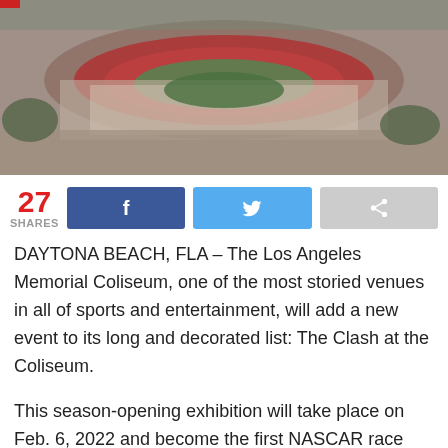[Figure (photo): Aerial view of the Los Angeles Memorial Coliseum showing the iconic stadium structure with red seating, surrounding grounds, and trees]
27 SHARES
DAYTONA BEACH, FLA – The Los Angeles Memorial Coliseum, one of the most storied venues in all of sports and entertainment, will add a new event to its long and decorated list: The Clash at the Coliseum.
This season-opening exhibition will take place on Feb. 6, 2022 and become the first NASCAR race held inside the iconic Los Angeles stadium since it opened in 1923. The Clash at the Coliseum will be a